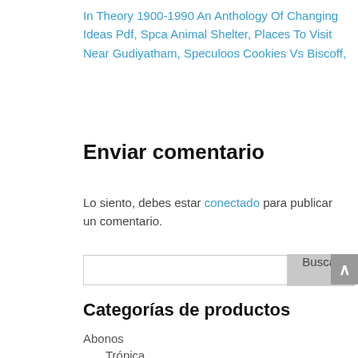In Theory 1900-1990 An Anthology Of Changing Ideas Pdf, Spca Animal Shelter, Places To Visit Near Gudiyatham, Speculoos Cookies Vs Biscoff,
Enviar comentario
Lo siento, debes estar conectado para publicar un comentario.
Categorías de productos
Abonos
Trópica